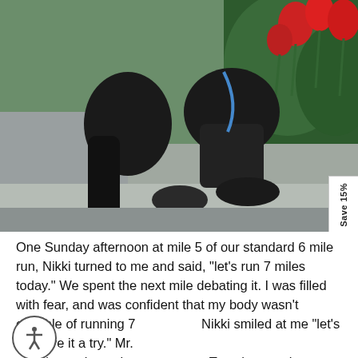[Figure (photo): Two people sitting on a concrete ledge outdoors, both wearing black clothing and sandals. Red tulips and green foliage are visible in the background. One person has a blue lanyard. A white 'Save 15%' tab is visible on the right side.]
One Sunday afternoon at mile 5 of our standard 6 mile run, Nikki turned to me and said, "let's run 7 miles today." We spent the next mile debating it. I was filled with fear, and was confident that my body wasn't capable of running 7 Nikki smiled at me "let's just give it a try." Mr. r's words ran in my memory. Together, on that perfect fall afternoon with the sun setting behind us, we